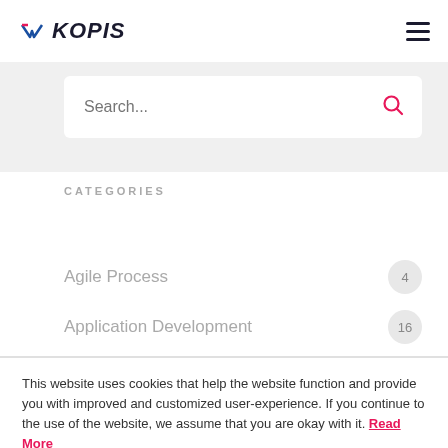KOPIS
[Figure (screenshot): Search bar with placeholder text 'Search...' and a pink magnifying glass icon on the right]
CATEGORIES
Agile Process 4
Application Development 16
This website uses cookies that help the website function and provide you with improved and customized user-experience. If you continue to the use of the website, we assume that you are okay with it. Read More
Got It